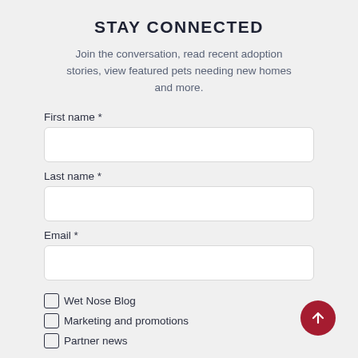STAY CONNECTED
Join the conversation, read recent adoption stories, view featured pets needing new homes and more.
First name *
Last name *
Email *
Wet Nose Blog
Marketing and promotions
Partner news